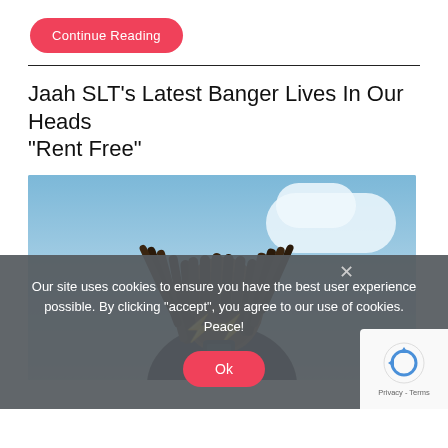Continue Reading
Jaah SLT's Latest Banger Lives In Our Heads "Rent Free"
[Figure (photo): Photo of Jaah SLT, a rapper with long dreadlocks, looking down at a phone against a blue sky background, with yellow lightning bolt graphics near his face.]
Our site uses cookies to ensure you have the best user experience possible. By clicking "accept", you agree to our use of cookies. Peace!
Ok
Privacy - Terms